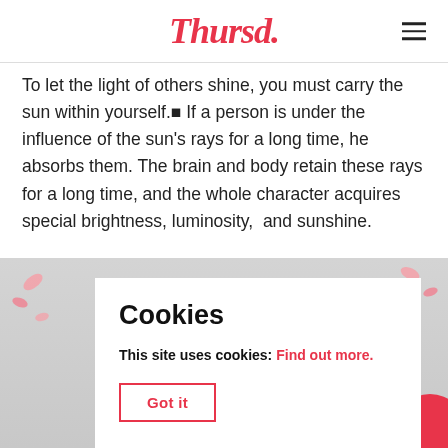Thursd.
To let the light of others shine, you must carry the sun within yourself.■ If a person is under the influence of the sun's rays for a long time, he absorbs them. The brain and body retain these rays for a long time, and the whole character acquires special brightness, luminosity,  and sunshine.
[Figure (photo): Partial photo of a person with dark hair and pink flower petals, with a pink circle in the bottom right corner]
Cookies
This site uses cookies: Find out more.
Got it